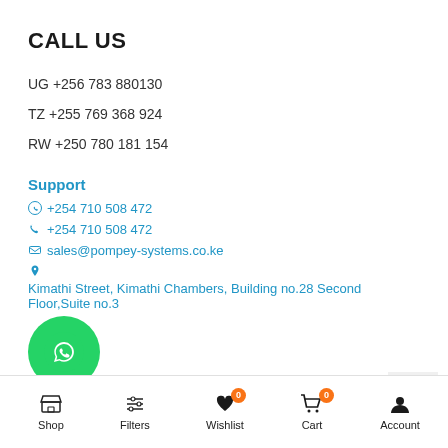CALL US
UG +256 783 880130
TZ +255 769 368 924
RW +250 780 181 154
Support
☎ +254 710 508 472
+254 710 508 472
sales@pompey-systems.co.ke
Kimathi Street, Kimathi Chambers, Building no.28 Second Floor,Suite no.3
Shop  Filters  Wishlist 0  Cart 0  Account